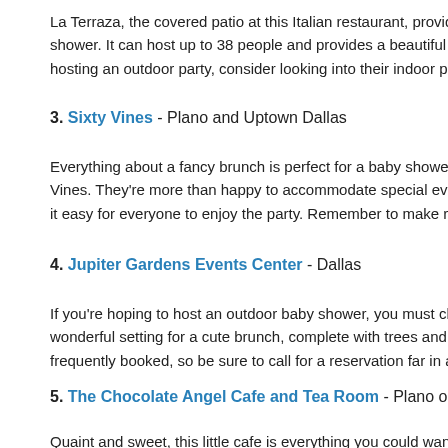La Terraza, the covered patio at this Italian restaurant, provides a warm and inviting atmosphere for a baby shower. It can host up to 38 people and provides a beautiful view of the neighborhood. If you're not comfortable hosting an outdoor party, consider looking into their indoor private dining options.
3. Sixty Vines - Plano and Uptown Dallas
Everything about a fancy brunch is perfect for a baby shower, and if anyone knows that, it's Sixty Vines. They're more than happy to accommodate special events like baby showers, and the gluten-free menu makes it easy for everyone to enjoy the party. Remember to make reservations in advance.
4. Jupiter Gardens Events Center - Dallas
If you're hoping to host an outdoor baby shower, you must check out Cupid's Garden. It's a wonderful setting for a cute brunch, complete with trees and an adorable little pond. This venue is frequently booked, so be sure to call for a reservation far in advance.
5. The Chocolate Angel Cafe and Tea Room - Plano or Richardson
Quaint and sweet, this little cafe is everything you could want for a baby shower. They offer brunch as well as after-hour options for special events. The vintage decor and sweet treats are delightful, and you'll find that the owners take Southern hospitality to a whole new level.